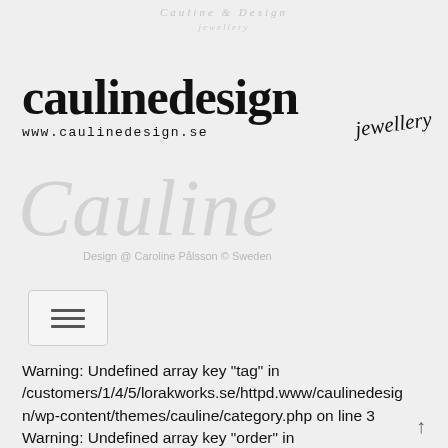[Figure (logo): Cauline Design jewellery logo with website URL www.caulinedesign.se and cursive jewellery text]
[Figure (illustration): Large light grey cursive Cauline watermark script with Design @ Caroline Pålsson © Sweden subtitle]
[Figure (other): Hamburger menu button icon with three horizontal lines]
Warning: Undefined array key "tag" in /customers/1/4/5/lorakworks.se/httpd.www/caulinedesign/wp-content/themes/cauline/category.php on line 3
Warning: Undefined array key "order" in